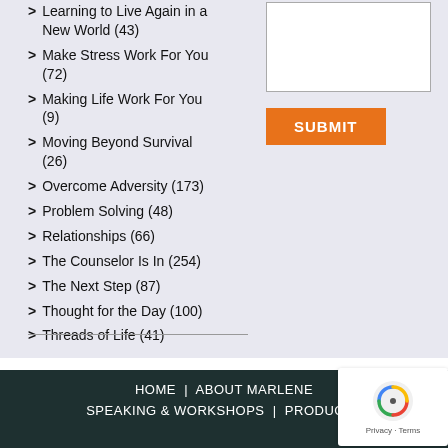Learning to Live Again in a New World (43)
Make Stress Work For You (72)
Making Life Work For You (9)
Moving Beyond Survival (26)
Overcome Adversity (173)
Problem Solving (48)
Relationships (66)
The Counselor Is In (254)
The Next Step (87)
Thought for the Day (100)
Threads of Life (41)
HOME | ABOUT MARLENE | SPEAKING & WORKSHOPS | PRODUCTS